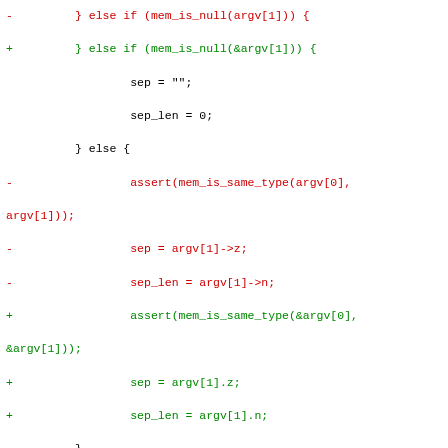[Figure (other): A unified diff (patch) snippet showing code changes to a C source file. Lines prefixed with '-' are removed, lines with '+' are added, and '@@' lines are diff hunk headers. The code deals with memory operations and SQL context functions.]